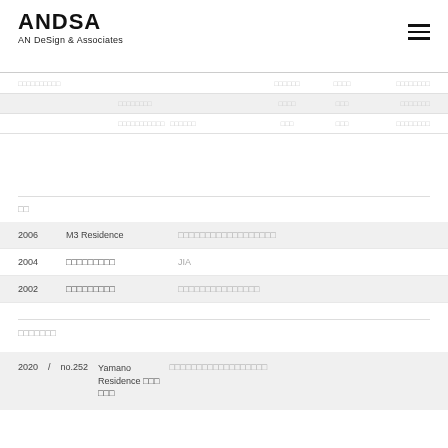ANDSA
AN DeSign & Associates
|  |  |  |  |  |
| --- | --- | --- | --- | --- |
| □□□□□□□□□□ |  | □□□□□□ | □□□□ | □□□□□□□□ |
| □□□□□□□□ |  | □□□□ | □□□ | □□□□□□□ |
| □□□□□□□□□□□ □□□□□□ |  | □□□ | □□□ | □□□□□□□□ |
□□
| year | name | organization |
| --- | --- | --- |
| 2006 | M3 Residence | □□□□□□□□□□□□□□□□□□ |
| 2004 | □□□□□□□□□ | JIA |
| 2002 | □□□□□□□□□ | □□□□□□□□□□□□□□□ |
□□□□□□□
| year | no. | title | organization |
| --- | --- | --- | --- |
| 2020 | no.252 | Yamano Residence □□□ □□□ | □□□□□□□□□□□□□□□□□□ |